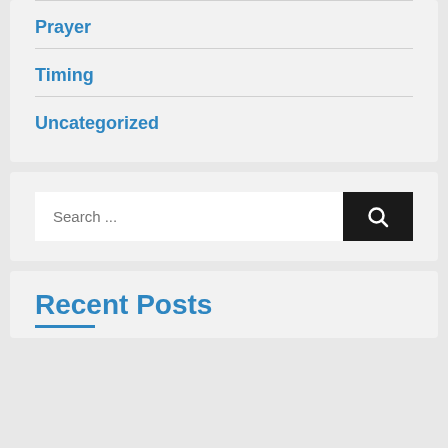Prayer
Timing
Uncategorized
Search ...
Recent Posts